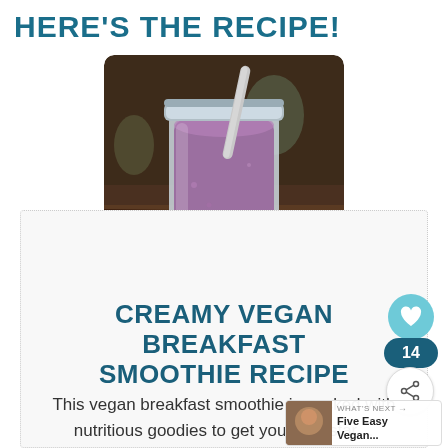HERE'S THE RECIPE!
[Figure (photo): A mason jar filled with a purple/pink smoothie with a straw, photographed on a dark wooden surface]
CREAMY VEGAN BREAKFAST SMOOTHIE RECIPE
This vegan breakfast smoothie is packed with nutritious goodies to get your day star... is also a dairy free breakfast smoothie that tastes